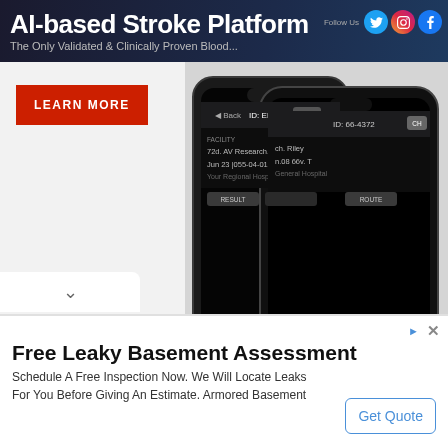AI-based Stroke Platform
The Only Validated & Clinically Proven Blood...
[Figure (screenshot): LEARN MORE button in red]
[Figure (screenshot): Two smartphones showing RAPID AI app with brain CT scan images. Suspected Hemorrhage text visible in yellow-green.]
[Figure (logo): RAPID AI logo in red and grey]
Sponsored by
rapidai.com
Open
Free Leaky Basement Assessment
Schedule A Free Inspection Now. We Will Locate Leaks For You Before Giving An Estimate. Armored Basement
Get Quote